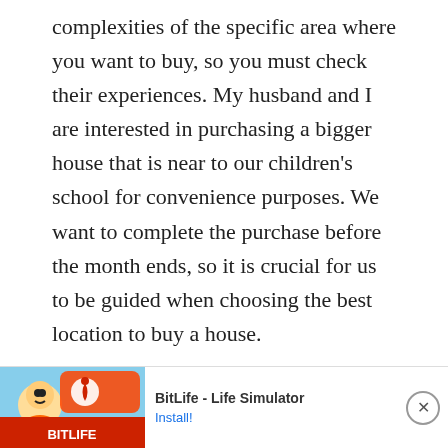complexities of the specific area where you want to buy, so you must check their experiences. My husband and I are interested in purchasing a bigger house that is near to our children's school for convenience purposes. We want to complete the purchase before the month ends, so it is crucial for us to be guided when choosing the best location to buy a house.
Reply
Bea A says:
October 26, 2021 at 10:21 pm
It made sense to me when you pointed out that you must [ad overlapping] l so the
[Figure (infographic): Ad banner for BitLife - Life Simulator with Ad label, cartoon mascot image on left, app name and Install button on right, and close X button]